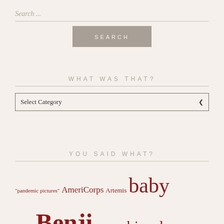Search ...
SEARCH
WHAT WAS THAT?
Select Category
YOU SAID WHAT?
"pandemic pictures" AmeriCorps Artemis baby Baking Benji Benji school bicycle Bicycle Alliance